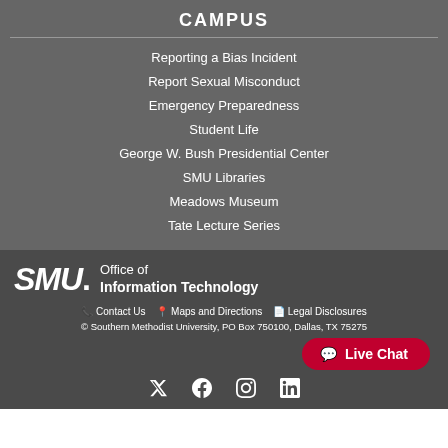CAMPUS
Reporting a Bias Incident
Report Sexual Misconduct
Emergency Preparedness
Student Life
George W. Bush Presidential Center
SMU Libraries
Meadows Museum
Tate Lecture Series
[Figure (logo): SMU Office of Information Technology logo with large italic SMU. text and Office of Information Technology to the right]
Contact Us   Maps and Directions   Legal Disclosures
© Southern Methodist University, PO Box 750100, Dallas, TX 75275
[Figure (other): Live Chat button in red rounded rectangle]
[Figure (other): Social media icons: Twitter, Facebook, Instagram, LinkedIn]